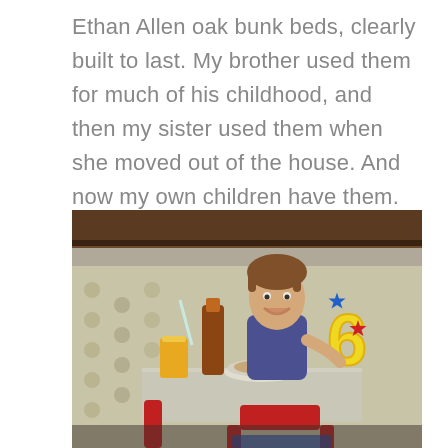Ethan Allen oak bunk beds, clearly built to last. My brother used them for much of his childhood, and then my sister used them when she moved out of the house. And now my own children have them.
[Figure (photo): A young boy sitting under a bunk bed at a small table, smiling and holding a large number 6 decoration with stars. On the table there is a plate of food, a glass of orange juice, and a bottle. The room has floral wallpaper in the background.]